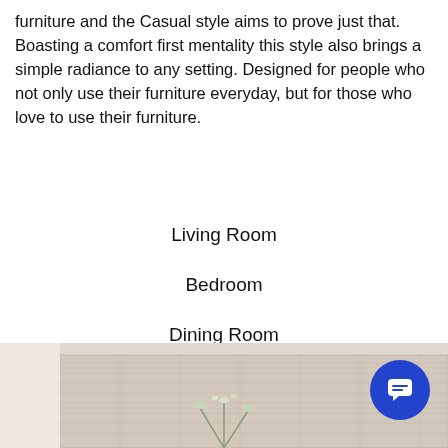furniture and the Casual style aims to prove just that. Boasting a comfort first mentality this style also brings a simple radiance to any setting. Designed for people who not only use their furniture everyday, but for those who love to use their furniture.
Living Room
Bedroom
Dining Room
Shop All
[Figure (photo): A cropped photo of a living room scene, showing a linen-textured sofa back and a small floral arrangement on a surface in the foreground. Neutral beige tones.]